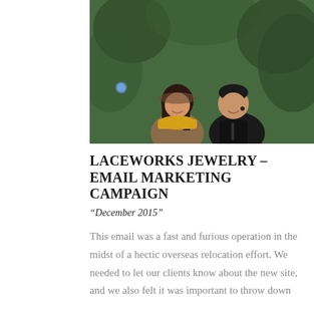[Figure (photo): A couple (man and woman) smiling outdoors in front of evergreen trees. The woman is wearing a brown jacket and yellow scarf, the man is in a dark jacket.]
LACEWORKS JEWELRY – EMAIL MARKETING CAMPAIGN
“December 2015”
This email was a fast and furious operation in the midst of a hectic overseas relocation effort. We needed to let our clients know about the new site, and we also felt it was important to throw down